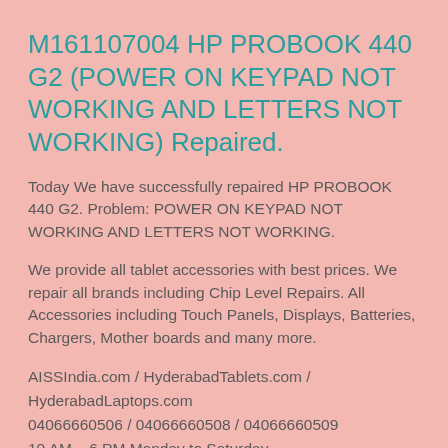M161107004 HP PROBOOK 440 G2 (POWER ON KEYPAD NOT WORKING AND LETTERS NOT WORKING) Repaired.
Today We have successfully repaired HP PROBOOK 440 G2. Problem: POWER ON KEYPAD NOT WORKING AND LETTERS NOT WORKING.
We provide all tablet accessories with best prices. We repair all brands including Chip Level Repairs. All Accessories including Touch Panels, Displays, Batteries, Chargers, Mother boards and many more.
AISSIndia.com / HyderabadTablets.com / HyderabadLaptops.com
04066660506 / 04066660508 / 04066660509
10 AM – 6 PM Monday to Saturday
D3, D Block, 6-3-348, Maheshwari Towers, Road No 1